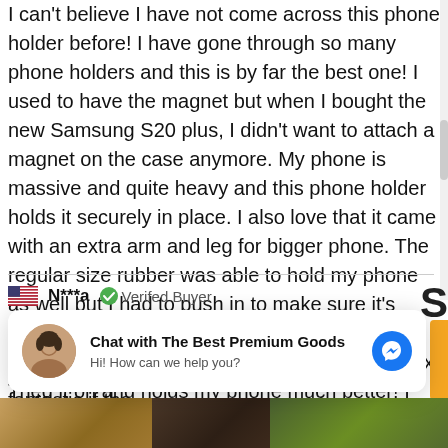I can't believe I have not come across this phone holder before! I have gone through so many phone holders and this is by far the best one! I used to have the magnet but when I bought the new Samsung S20 plus, I didn't want to attach a magnet on the case anymore. My phone is massive and quite heavy and this phone holder holds it securely in place. I also love that it came with an extra arm and leg for bigger phone. The regular size rubber was able to hold my phone as well but I had to push it in to make sure it's secured. I didn't know it came with a larger rubber until I opened the little bag inside the box. Tried it on and holds my phone much better! I highly recommend! Will buy another one for my other car!
N***a  Verifed Buyer
8 Oct 2020
Having tried many various mounts, this works fantastic if the
[Figure (screenshot): Chat overlay widget: avatar of woman, text 'Chat with The Best Premium Goods' and 'Hi! How can we help you?', blue Messenger icon]
[Figure (photo): Three thumbnail images at the bottom of the page]